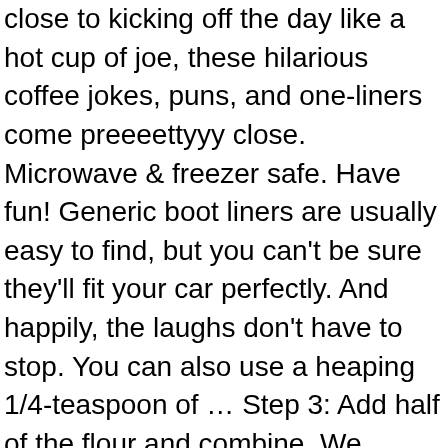close to kicking off the day like a hot cup of joe, these hilarious coffee jokes, puns, and one-liners come preeeettyyy close. Microwave & freezer safe. Have fun! Generic boot liners are usually easy to find, but you can't be sure they'll fit your car perfectly. And happily, the laughs don't have to stop. You can also use a heaping 1/4-teaspoon of … Step 3: Add half of the flour and combine. We compiled some of the best camel one-liners and knee-slappers to help get you through the Hump Day slump. Foil Liners: Thicker than paper liners, foil liners are stronger and more decorative than paper but are also likely to cost more. I'm the only one in my family that drinks coffee, therefore, the 4 cup maker is perfect for me. Delia's Coffee and Walnut Sponge Cake recipe. Write on it after, as the water might smudge the ink. This recipe takes that same approach, then turns it into muffin form. 100% Satisfaction Guarantee For our 110 funniest festive jokes and one-liners, click here. Curbside Pickup Available NOW! You can make sure your vehicle is as protected as ever, and they're even made to have extra grip to keep your cargo secure. Gilchrist & Soames stands as one of the most renowned and